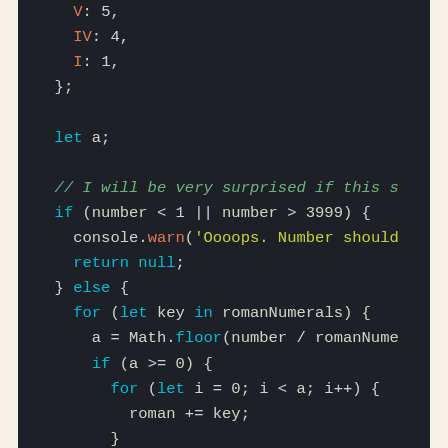Code snippet showing JavaScript object properties and a roman numeral conversion function with if/else and for loop logic.